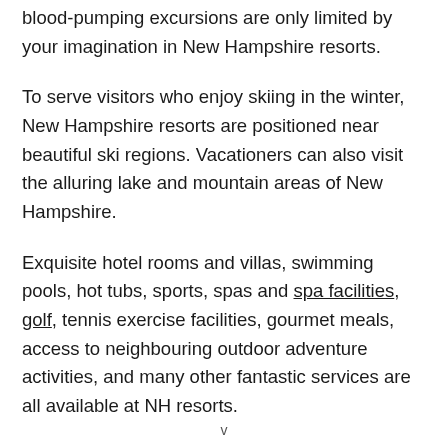blood-pumping excursions are only limited by your imagination in New Hampshire resorts.
To serve visitors who enjoy skiing in the winter, New Hampshire resorts are positioned near beautiful ski regions. Vacationers can also visit the alluring lake and mountain areas of New Hampshire.
Exquisite hotel rooms and villas, swimming pools, hot tubs, sports, spas and spa facilities, golf, tennis exercise facilities, gourmet meals, access to neighbouring outdoor adventure activities, and many other fantastic services are all available at NH resorts.
v